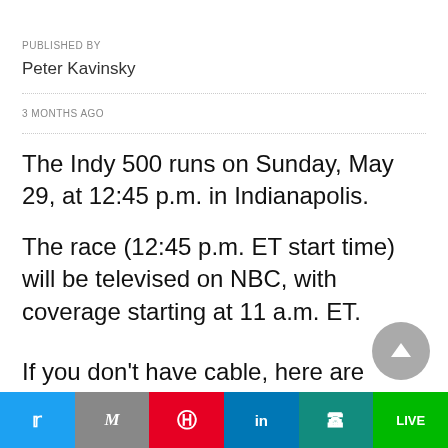PUBLISHED BY
Peter Kavinsky
3 MONTHS AGO
The Indy 500 runs on Sunday, May 29, at 12:45 p.m. in Indianapolis.
The race (12:45 p.m. ET start time) will be televised on NBC, with coverage starting at 11 a.m. ET.
If you don't have cable, here are some different